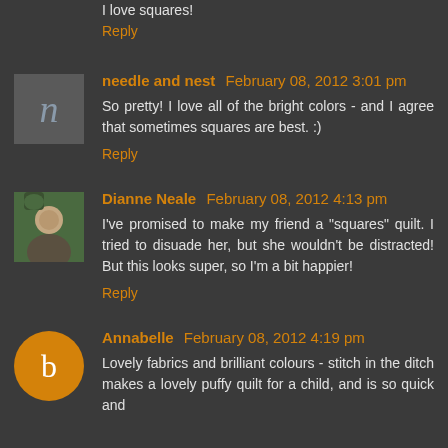I love squares!
Reply
needle and nest  February 08, 2012 3:01 pm
So pretty! I love all of the bright colors - and I agree that sometimes squares are best. :)
Reply
Dianne Neale  February 08, 2012 4:13 pm
I've promised to make my friend a "squares" quilt. I tried to disuade her, but she wouldn't be distracted! But this looks super, so I'm a bit happier!
Reply
Annabelle  February 08, 2012 4:19 pm
Lovely fabrics and brilliant colours - stitch in the ditch makes a lovely puffy quilt for a child, and is so quick and